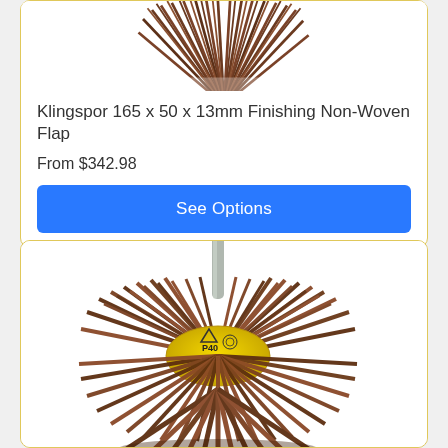[Figure (photo): Top portion of a Klingspor finishing non-woven flap wheel, partially cropped at top]
Klingspor 165 x 50 x 13mm Finishing Non-Woven Flap
From $342.98
See Options
[Figure (photo): Klingspor flap wheel with shank/spindle, P40 grit, shown mounted on a mandrel with yellow center label]